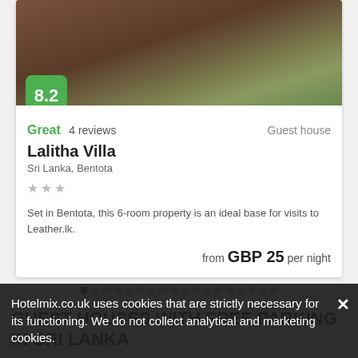[Figure (photo): Hotel exterior photo strip at top of card]
8.2
Great  4 reviews  Guest house
Lalitha Villa
Sri Lanka, Bentota
★★★
Set in Bentota, this 6-room property is an ideal base for visits to Leather.lk.
from GBP 25 per night
GUEST HOUSES WITH FREE PARKING IN SRI LANKA
Hotelmix.co.uk uses cookies that are strictly necessary for its functioning. We do not collect analytical and marketing cookies.